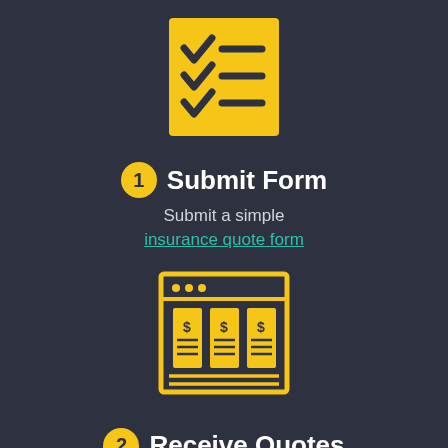[Figure (illustration): Yellow checklist icon with three checkmarks and horizontal lines on a yellow square background]
1 Submit Form
Submit a simple insurance quote form
[Figure (illustration): Yellow browser window icon showing three columns with dollar signs and horizontal lines, representing insurance quotes]
2 Receive Quotes
Get quotes from